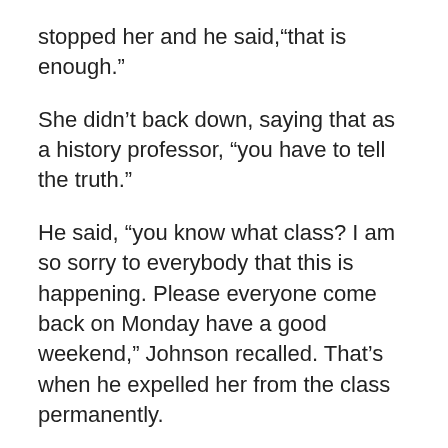stopped her and he said,“that is enough.”
She didn’t back down, saying that as a history professor, “you have to tell the truth.”
He said, “you know what class? I am so sorry to everybody that this is happening. Please everyone come back on Monday have a good weekend,” Johnson recalled. That’s when he expelled her from the class permanently.
He said, “I do not appreciate this in my classroom.” He began shaking his finger at me and said, “I don’t appreciate you making me sound like a racist and a bigot in my classroom. You have hijacked my lesson, taken everything